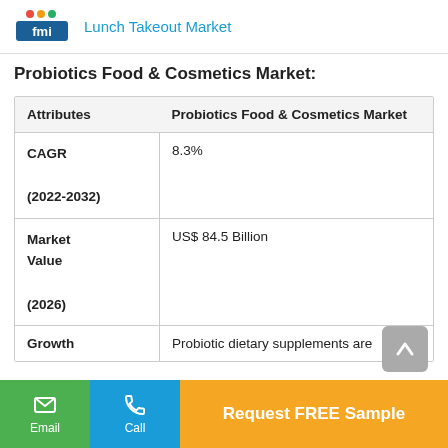Lunch Takeout Market
Probiotics Food & Cosmetics Market:
| Attributes | Probiotics Food & Cosmetics Market |
| --- | --- |
| CAGR
(2022-2032) | 8.3% |
| Market
Value
(2026) | US$ 84.5 Billion |
| Growth | Probiotic dietary supplements are |
Email | Call | Request FREE Sample